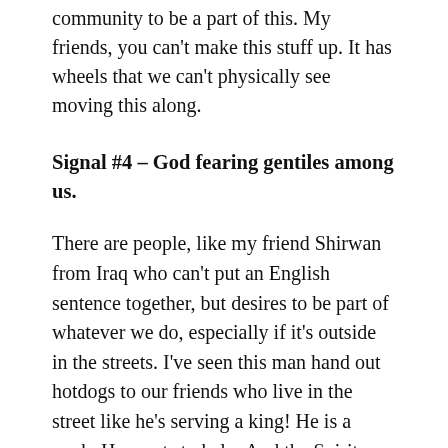community to be a part of this. My friends, you can't make this stuff up. It has wheels that we can't physically see moving this along.
Signal #4 – God fearing gentiles among us.
There are people, like my friend Shirwan from Iraq who can't put an English sentence together, but desires to be part of whatever we do, especially if it's outside in the streets. I've seen this man hand out hotdogs to our friends who live in the street like he's serving a king! He is a cook. He wants to help. And the Spirit makes possible our connection. Last Sunday I organized a tail gate BBQ after our gathering. It was risky due to Covid-19, but our church